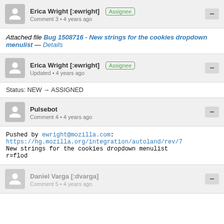Erica Wright [:ewright] Assignee Comment 3 • 4 years ago
Attached file Bug 1508716 - New strings for the cookies dropdown menulist — Details
Erica Wright [:ewright] Assignee Updated • 4 years ago
Status: NEW → ASSIGNED
Pulsebot Comment 4 • 4 years ago
Pushed by ewright@mozilla.com:
https://hg.mozilla.org/integration/autoland/rev/7
New strings for the cookies dropdown menulist
r=flod
Daniel Varga [:dvarga] Comment 5 • 4 years ago